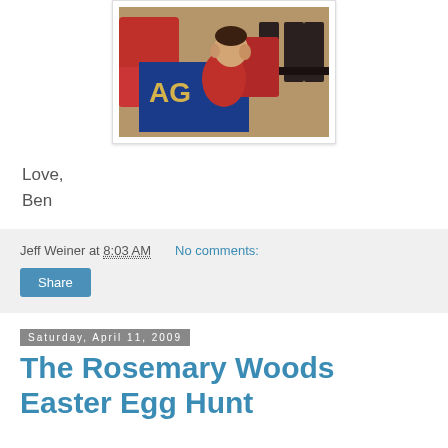[Figure (photo): A young boy sitting in a red chair covered with a blue and yellow blanket, viewed from the side in an indoor setting with wooden furniture in the background.]
Love,
Ben
Jeff Weiner at 8:03 AM   No comments:
Share
Saturday, April 11, 2009
The Rosemary Woods Easter Egg Hunt